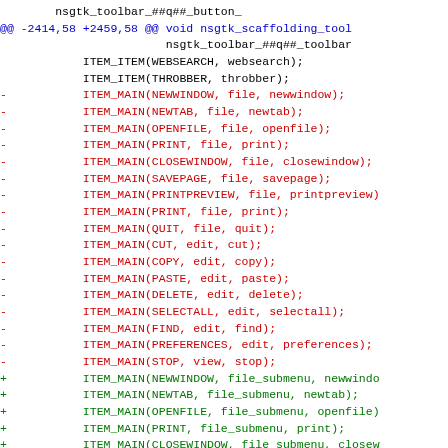Code diff showing changes to nsgtk_scaffolding_tool function, with removed lines (red, starting with -) using ITEM_MAIN with file/edit/view parameters, and added lines (green, starting with +) using ITEM_MAIN with file_submenu parameters.